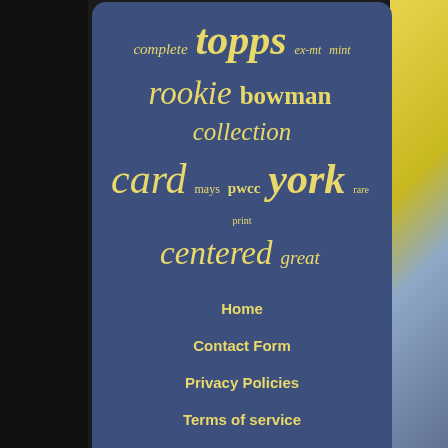[Figure (infographic): Word cloud / tag cloud on dark blue rounded rectangle background with terms related to baseball cards: complete, topps, ex-mt, mint, rookie, bowman, collection, card, mays, pwcc, york, rare, print, centered, great, yankees, cards, vg-ex, good, sharp, short, nice, centering, grade, graded, mickey, break, back]
Home
Contact Form
Privacy Policies
Terms of service